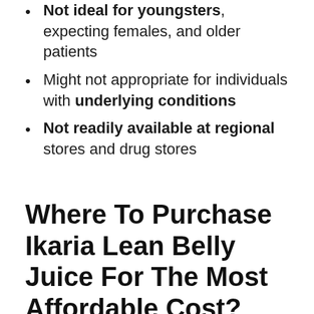Not ideal for youngsters, expecting females, and older patients
Might not appropriate for individuals with underlying conditions
Not readily available at regional stores and drug stores
Where To Purchase Ikaria Lean Belly Juice For The Most Affordable Cost?
Already, the only method to acquire Ikaria Lean Belly Juice is with the main site. If any other website, regional store, or individual provides you the very same item for a much reduced cost, selling it the rest is is almost believe it. The